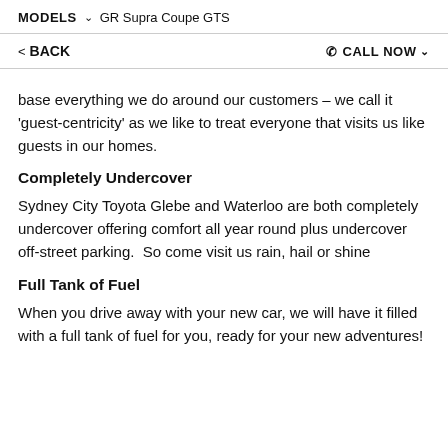MODELS ∨ GR Supra Coupe GTS
‹ BACK    ☎ CALL NOW ∨
base everything we do around our customers – we call it ‘guest-centricity’ as we like to treat everyone that visits us like guests in our homes.
Completely Undercover
Sydney City Toyota Glebe and Waterloo are both completely undercover offering comfort all year round plus undercover off-street parking.  So come visit us rain, hail or shine
Full Tank of Fuel
When you drive away with your new car, we will have it filled with a full tank of fuel for you, ready for your new adventures!